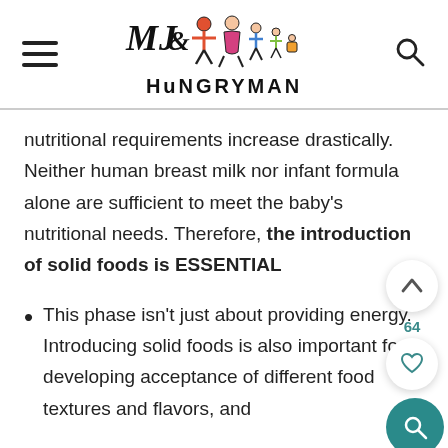MJ & HUNGRYMAN
nutritional requirements increase drastically. Neither human breast milk nor infant formula alone are sufficient to meet the baby's nutritional needs. Therefore, the introduction of solid foods is ESSENTIAL
This phase isn't just about providing energy. Introducing solid foods is also important for developing acceptance of different food textures and flavors, and